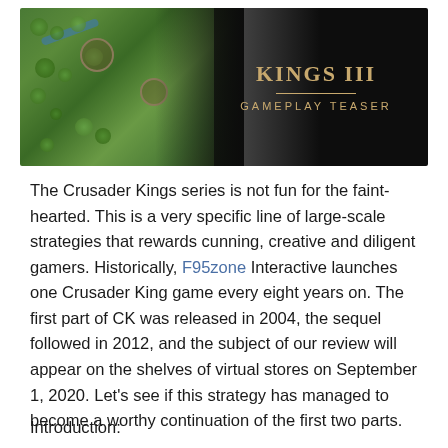[Figure (screenshot): Crusader Kings III Gameplay Teaser banner image showing a fantasy map on the left with terrain features and circular markers, and a dark panel on the right with the game title 'KINGS III' and subtitle 'GAMEPLAY TEASER' in gold text.]
The Crusader Kings series is not fun for the faint-hearted. This is a very specific line of large-scale strategies that rewards cunning, creative and diligent gamers. Historically, F95zone Interactive launches one Crusader King game every eight years on. The first part of CK was released in 2004, the sequel followed in 2012, and the subject of our review will appear on the shelves of virtual stores on September 1, 2020. Let's see if this strategy has managed to become a worthy continuation of the first two parts.
Introduction: